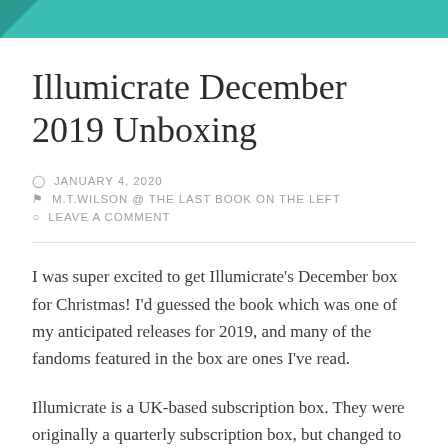[Figure (other): Teal header bar with darker teal triangle in top-left corner]
Illumicrate December 2019 Unboxing
JANUARY 4, 2020
M.T.WILSON @ THE LAST BOOK ON THE LEFT
LEAVE A COMMENT
I was super excited to get Illumicrate's December box for Christmas! I'd guessed the book which was one of my anticipated releases for 2019, and many of the fandoms featured in the box are ones I've read.
Illumicrate is a UK-based subscription box. They were originally a quarterly subscription box, but changed to monthly. If you subscribe, you get a box